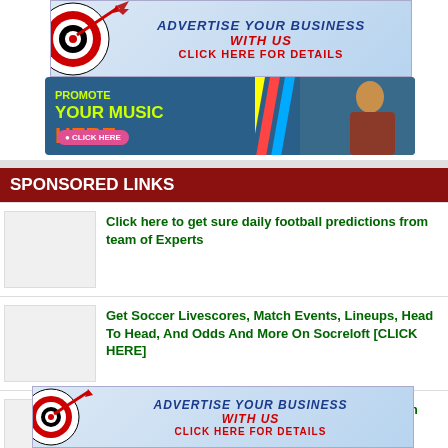[Figure (infographic): Advertisement banner: ADVERTISE YOUR BUSINESS WITH US - CLICK HERE FOR DETAILS, with dart and target graphic]
[Figure (infographic): Music promotion banner: YOUR MUSIC HERE - CLICK HERE, blue background with diagonal stripes and person photo]
SPONSORED LINKS
Click here to get sure daily football predictions from team of Experts
Get Soccer Livescores, Match Events, Lineups, Head To Head, And Odds And More On Socreloft [CLICK HERE]
Music Artistes!! You Can Now Buy Hit Songs From SOUND MAGIX SONG WRITERS (Click
[Figure (infographic): Advertisement banner: ADVERTISE YOUR BUSINESS WITH US - CLICK HERE FOR DETAILS]